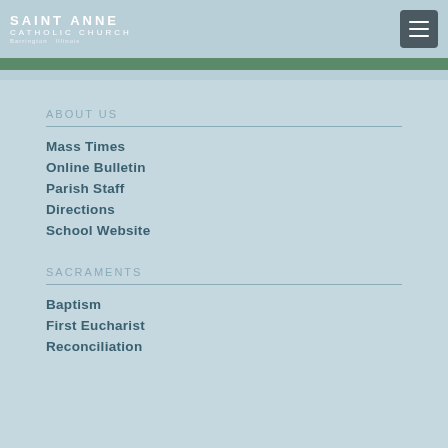SAINT ANNE CATHOLIC CHURCH
ABOUT US
Mass Times
Online Bulletin
Parish Staff
Directions
School Website
SACRAMENTS
Baptism
First Eucharist
Reconciliation